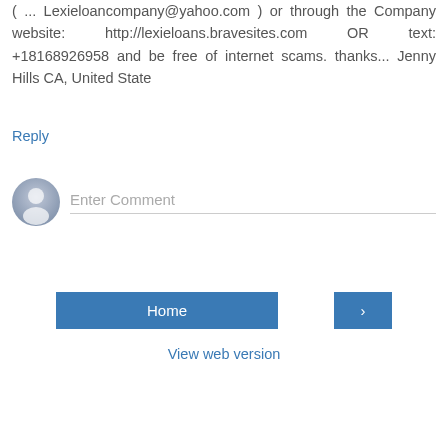( ... Lexieloancompany@yahoo.com ) or through the Company website: http://lexieloans.bravesites.com OR text: +18168926958 and be free of internet scams. thanks... Jenny Hills CA, United State
Reply
[Figure (other): User avatar placeholder icon (grey circle with person silhouette)]
Enter Comment
Home
›
View web version